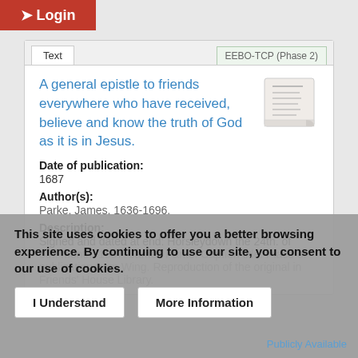Login
A general epistle to friends everywhere who have received, believe and know the truth of God as it is in Jesus.
Date of publication:
1687
Author(s):
Parke, James, 1636-1696.
Description:
Signed and dated at end: Horsleydown the 24th. of 5th. month. 1687. James Parke. Caption title. Place of publication from Wing. Reproduction of the original in Friends' House Library.
This site uses cookies to offer you a better browsing experience. By continuing to use our site, you consent to our use of cookies.
I Understand
More Information
Publicly Available